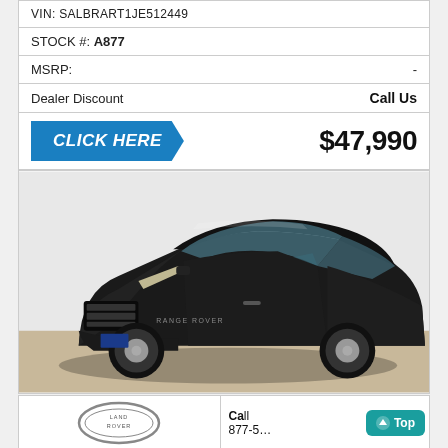VIN: SALBRART1JE512449
STOCK #: A877
MSRP: -
Dealer Discount   Call Us
CLICK HERE   $47,990
[Figure (photo): Black Range Rover SUV photographed from a front three-quarter angle in a showroom with gray floor and white background]
[Figure (photo): Land Rover logo badge (oval chrome ring with LAND ROVER text)]
Ca... 877-5...
Top